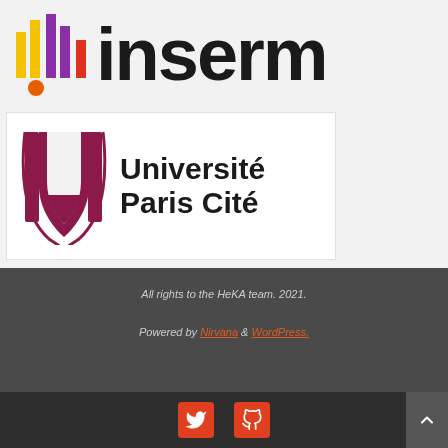[Figure (logo): Inserm logo with colorful bar chart icon and bold INSERM text]
[Figure (logo): Université Paris Cité logo with dark red W/arch symbol and text]
All rights to the HeKA team. 2021.
Powered by Nirvana & WordPress.
[Figure (infographic): Twitter and GitHub social media icon buttons in red, plus scroll-to-top button]